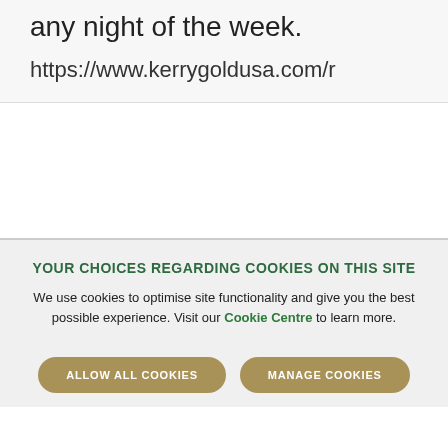any night of the week.
https://www.kerrygoldusa.com/r
YOUR CHOICES REGARDING COOKIES ON THIS SITE
We use cookies to optimise site functionality and give you the best possible experience. Visit our Cookie Centre to learn more.
ALLOW ALL COOKIES
MANAGE COOKIES